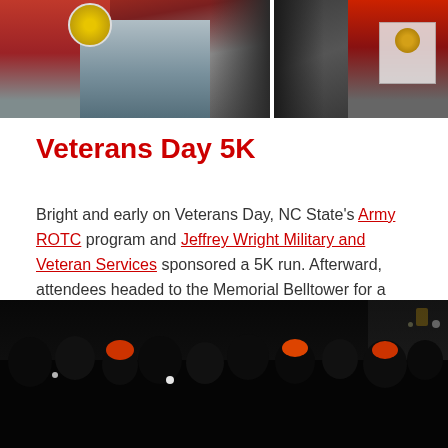[Figure (photo): Two photos side by side at the top: left shows people in red shirts at a table with a yellow circular logo/badge, right shows a person in red shirt holding papers against a dark background]
Veterans Day 5K
Bright and early on Veterans Day, NC State's Army ROTC program and Jeffrey Wright Military and Veteran Services sponsored a 5K run. Afterward, attendees headed to the Memorial Belltower for a ceremony to honor those who have served.
[Figure (photo): A nighttime outdoor photo showing a crowd of people gathered in darkness, some wearing red/orange hats, with lights visible in the background]